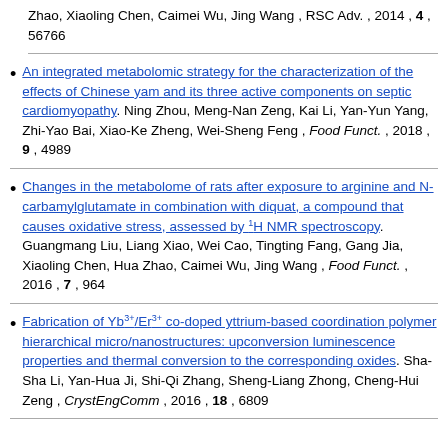Zhao, Xiaoling Chen, Caimei Wu, Jing Wang , RSC Adv. , 2014 , 4 , 56766
An integrated metabolomic strategy for the characterization of the effects of Chinese yam and its three active components on septic cardiomyopathy. Ning Zhou, Meng-Nan Zeng, Kai Li, Yan-Yun Yang, Zhi-Yao Bai, Xiao-Ke Zheng, Wei-Sheng Feng , Food Funct. , 2018 , 9 , 4989
Changes in the metabolome of rats after exposure to arginine and N-carbamylglutamate in combination with diquat, a compound that causes oxidative stress, assessed by 1H NMR spectroscopy. Guangmang Liu, Liang Xiao, Wei Cao, Tingting Fang, Gang Jia, Xiaoling Chen, Hua Zhao, Caimei Wu, Jing Wang , Food Funct. , 2016 , 7 , 964
Fabrication of Yb3+/Er3+ co-doped yttrium-based coordination polymer hierarchical micro/nanostructures: upconversion luminescence properties and thermal conversion to the corresponding oxides. Sha-Sha Li, Yan-Hua Ji, Shi-Qi Zhang, Sheng-Liang Zhong, Cheng-Hui Zeng , CrystEngComm , 2016 , 18 , 6809